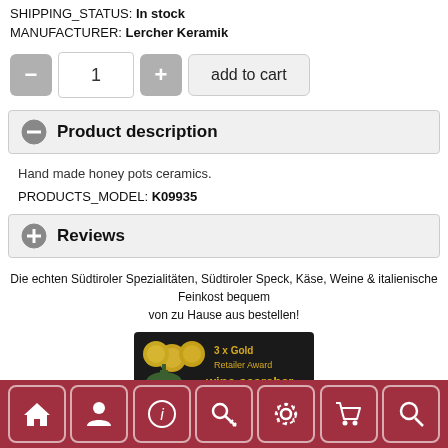SHIPPING_STATUS: In stock
MANUFACTURER: Lercher Keramik
[Figure (other): Add to cart UI with minus button, quantity input showing 1, plus button, and add to cart button]
Product description
Hand made honey pots ceramics.
PRODUCTS_MODEL: K09935
Reviews
Die echten Südtiroler Spezialitäten, Südtiroler Speck, Käse, Weine & italienische Feinkost bequem von zu Hause aus bestellen!
[Figure (logo): wine-searcher 3 x Gold Retailer Award badge on dark background]
[Figure (other): Google Translate Select Language dropdown widget]
Navigation footer with home, person, info, key, settings, cart, search icons